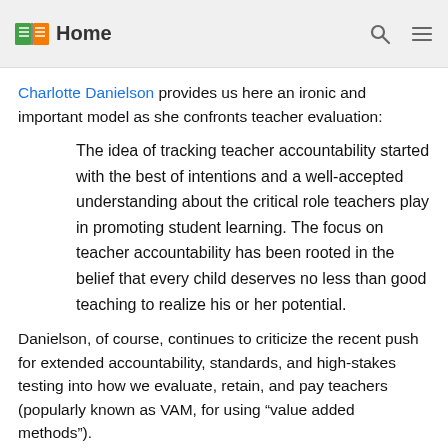Home
Charlotte Danielson provides us here an ironic and important model as she confronts teacher evaluation:
The idea of tracking teacher accountability started with the best of intentions and a well-accepted understanding about the critical role teachers play in promoting student learning. The focus on teacher accountability has been rooted in the belief that every child deserves no less than good teaching to realize his or her potential.
Danielson, of course, continues to criticize the recent push for extended accountability, standards, and high-stakes testing into how we evaluate, retain, and pay teachers (popularly known as VAM, for using “value added methods”).
The irony comes as Danielson slips into what I believe is the central problem driving much of the classroom coloniali... challenged by Benjamin, Emdin, Samudzi, and Paul Gorski: Danielson’s alternative to the failed good intenti... of teacher evaluation is just another technocratic version of